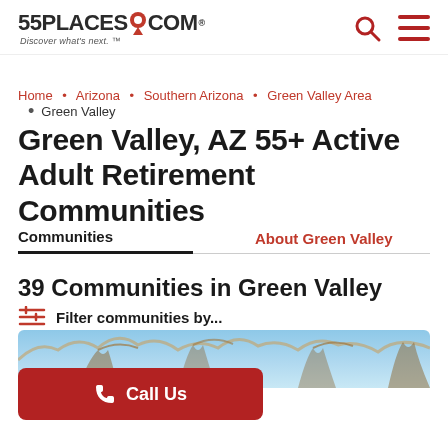[Figure (logo): 55places.com logo with red map pin icon and tagline 'Discover what's next.']
Home • Arizona • Southern Arizona • Green Valley Area
Green Valley
Green Valley, AZ 55+ Active Adult Retirement Communities
Communities | About Green Valley
39 Communities in Green Valley
Filter communities by...
[Figure (photo): Photo strip showing tree branches against a blue sky]
Call Us